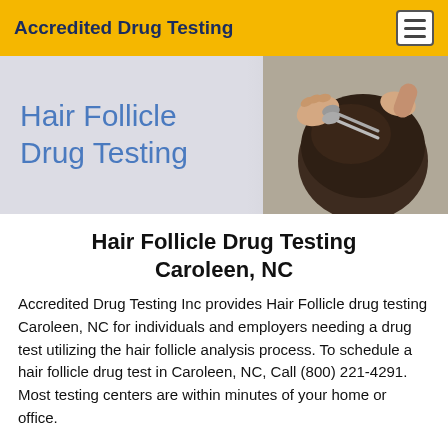Accredited Drug Testing
[Figure (photo): Hero banner with 'Hair Follicle Drug Testing' text on grey gradient background and photo of scissors cutting a man's hair on the right]
Hair Follicle Drug Testing Caroleen, NC
Accredited Drug Testing Inc provides Hair Follicle drug testing Caroleen, NC for individuals and employers needing a drug test utilizing the hair follicle analysis process. To schedule a hair follicle drug test in Caroleen, NC, Call (800) 221-4291. Most testing centers are within minutes of your home or office.
(800) 221-4291